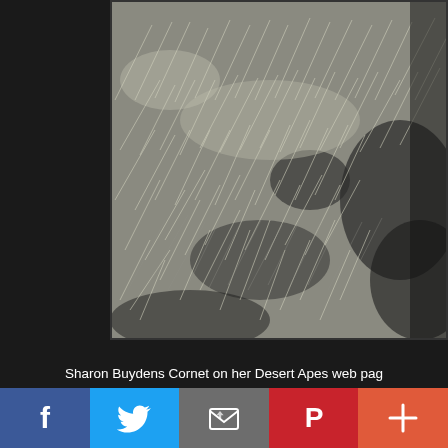[Figure (photo): Close-up photo of dry desert grass and scrub vegetation on sandy ground, with shadows visible. The photo is partially visible, cropped on the right side.]
Sharon Buydens Cornet on her Desert Apes web pag
[Figure (infographic): Social media sharing bar with five buttons: Facebook (blue, f icon), Twitter (light blue, bird icon), Email (grey, envelope icon), Pinterest (red, P icon), More (orange-red, plus icon)]